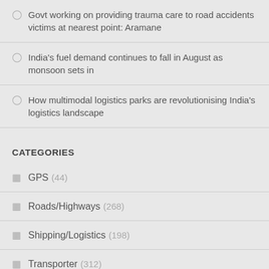Govt working on providing trauma care to road accidents victims at nearest point: Aramane
India's fuel demand continues to fall in August as monsoon sets in
How multimodal logistics parks are revolutionising India's logistics landscape
CATEGORIES
GPS (44)
Roads/Highways (268)
Shipping/Logistics (198)
Transporter (312)